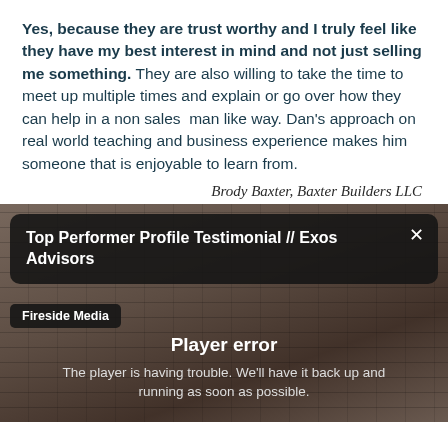Yes, because they are trust worthy and I truly feel like they have my best interest in mind and not just selling me something. They are also willing to take the time to meet up multiple times and explain or go over how they can help in a non sales  man like way. Dan's approach on real world teaching and business experience makes him someone that is enjoyable to learn from.
Brody Baxter, Baxter Builders LLC
[Figure (screenshot): Video player screenshot showing a brick building background with a dark overlay box displaying 'Top Performer Profile Testimonial // Exos Advisors' title, a 'Fireside Media' channel badge, and a player error message: 'The player is having trouble. We'll have it back up and running as soon as possible.']